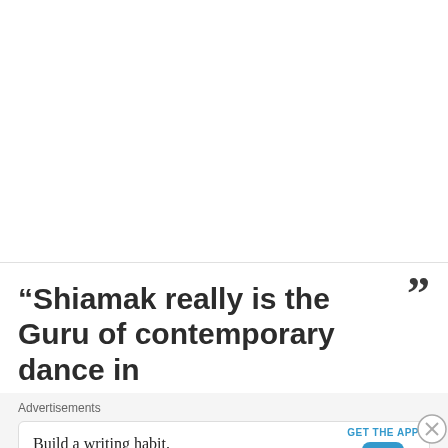“Shiamak really is the Guru of contemporary dance in
Advertisements
Build a writing habit.
Post on the go.
GET THE APP
REPORT THIS AD